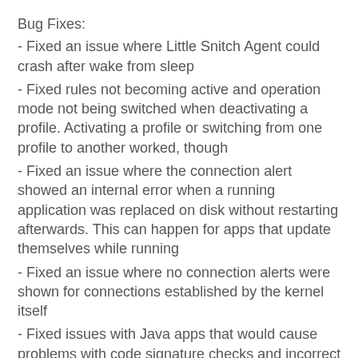Bug Fixes:
- Fixed an issue where Little Snitch Agent could crash after wake from sleep
- Fixed rules not becoming active and operation mode not being switched when deactivating a profile. Activating a profile or switching from one profile to another worked, though
- Fixed an issue where the connection alert showed an internal error when a running application was replaced on disk without restarting afterwards. This can happen for apps that update themselves while running
- Fixed an issue where no connection alerts were shown for connections established by the kernel itself
- Fixed issues with Java apps that would cause problems with code signature checks and incorrect app icons and process paths to be shown
- Fixed an issue in Little Snitch Configuration's rule inspector where selecting "Any Port" or "Any Protocol"